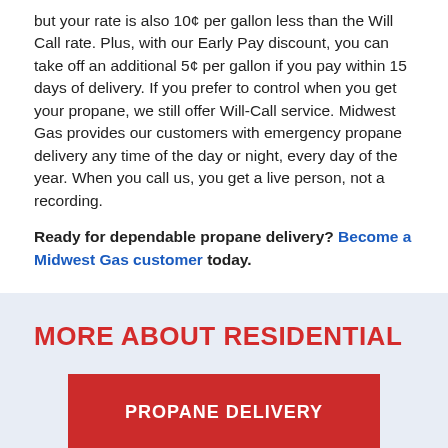but your rate is also 10¢ per gallon less than the Will Call rate. Plus, with our Early Pay discount, you can take off an additional 5¢ per gallon if you pay within 15 days of delivery. If you prefer to control when you get your propane, we still offer Will-Call service. Midwest Gas provides our customers with emergency propane delivery any time of the day or night, every day of the year. When you call us, you get a live person, not a recording.
Ready for dependable propane delivery? Become a Midwest Gas customer today.
MORE ABOUT RESIDENTIAL
PROPANE DELIVERY